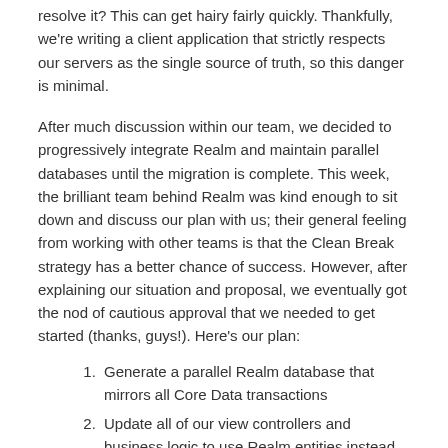resolve it? This can get hairy fairly quickly. Thankfully, we're writing a client application that strictly respects our servers as the single source of truth, so this danger is minimal.
After much discussion within our team, we decided to progressively integrate Realm and maintain parallel databases until the migration is complete. This week, the brilliant team behind Realm was kind enough to sit down and discuss our plan with us; their general feeling from working with other teams is that the Clean Break strategy has a better chance of success. However, after explaining our situation and proposal, we eventually got the nod of cautious approval that we needed to get started (thanks, guys!). Here's our plan:
Generate a parallel Realm database that mirrors all Core Data transactions
Update all of our view controllers and business logic to use Realm entities instead of Core Data entities
Replace RestKit with a basic networking-only library, or simply start using NSURLSession